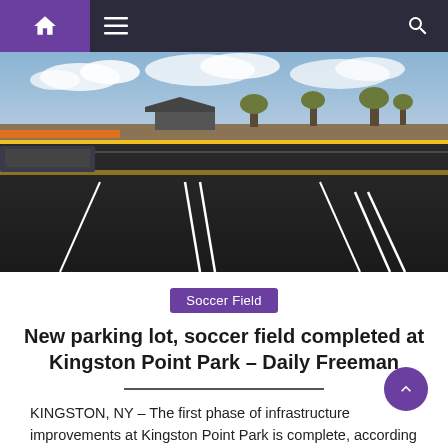Navigation bar with home, menu, and search icons
[Figure (photo): Newly paved parking lot with white and yellow striping, a shelter/pavilion and trees visible in the background at Kingston Point Park]
Soccer Field
New parking lot, soccer field completed at Kingston Point Park – Daily Freeman
KINGSTON, NY – The first phase of infrastructure improvements at Kingston Point Park is complete, according